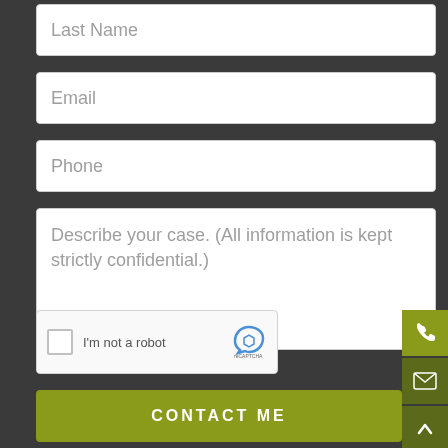Last Name
Email
Phone
Describe your case. (All information is kept strictly confidential.)
[Figure (other): reCAPTCHA widget with checkbox labeled I'm not a robot]
CONTACT ME